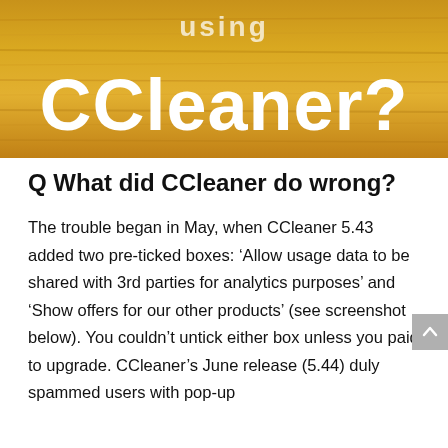[Figure (illustration): Gold/yellow wood-texture banner with white bold text reading 'using' at top and 'CCleaner?' in large bold white letters below]
Q What did CCleaner do wrong?
The trouble began in May, when CCleaner 5.43 added two pre-ticked boxes: ‘Allow usage data to be shared with 3rd parties for analytics purposes’ and ‘Show offers for our other products’ (see screenshot below). You couldn’t untick either box unless you paid to upgrade. CCleaner’s June release (5.44) duly spammed users with pop-up